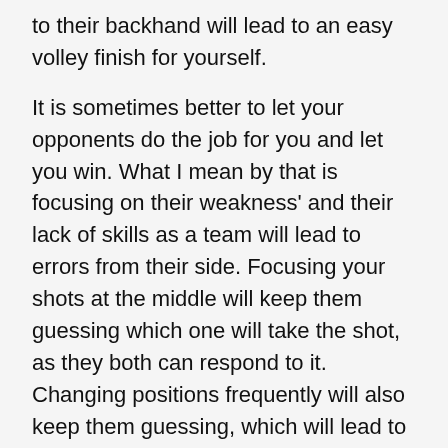to their backhand will lead to an easy volley finish for yourself.
It is sometimes better to let your opponents do the job for you and let you win. What I mean by that is focusing on their weakness' and their lack of skills as a team will lead to errors from their side. Focusing your shots at the middle will keep them guessing which one will take the shot, as they both can respond to it. Changing positions frequently will also keep them guessing, which will lead to errors. Striking deep in the court on ones backhand will also lead to an easy ball with volley finish.
5  Aim less for winners, rather try to impose